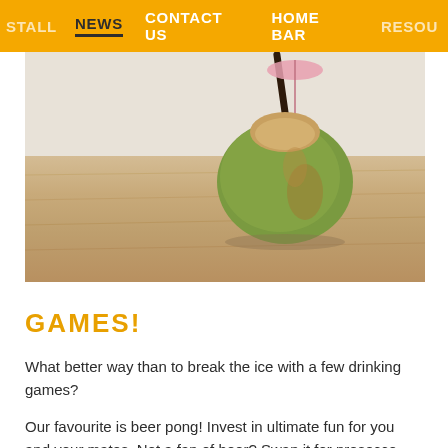STALL  NEWS  CONTACT US  HOME BAR  RESOU…
[Figure (photo): A green coconut with a black straw and a small pink paper umbrella, sitting on a light wooden table against a light grey wall background.]
GAMES!
What better way than to break the ice with a few drinking games?
Our favourite is beer pong! Invest in ultimate fun for you and your mates. Not a fan of beer? Swap it for prosecco and have a